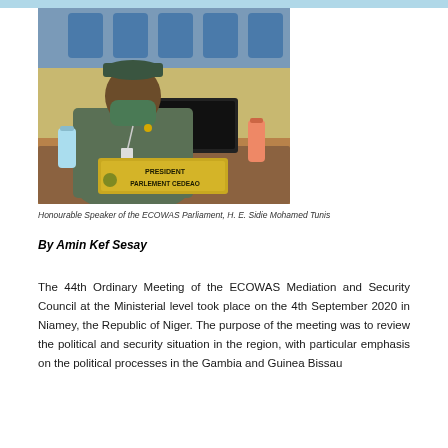[Figure (photo): Photo of Honourable Speaker of the ECOWAS Parliament, H. E. Sidie Mohamed Tunis, seated at a desk with a nameplate reading PRESIDENT PARLEMENT CEDEAO, wearing a green outfit and face mask]
Honourable Speaker of the ECOWAS Parliament, H. E. Sidie Mohamed Tunis
By Amin Kef Sesay
The 44th Ordinary Meeting of the ECOWAS Mediation and Security Council at the Ministerial level took place on the 4th September 2020 in Niamey, the Republic of Niger. The purpose of the meeting was to review the political and security situation in the region, with particular emphasis on the political processes in the Gambia and Guinea Bissau